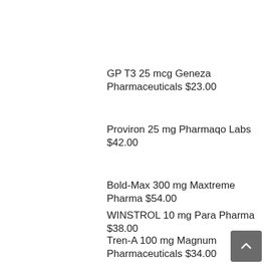GP T3 25 mcg Geneza Pharmaceuticals $23.00
Proviron 25 mg Pharmaqo Labs $42.00
Bold-Max 300 mg Maxtreme Pharma $54.00
WINSTROL 10 mg Para Pharma $38.00
Tren-A 100 mg Magnum Pharmaceuticals $34.00